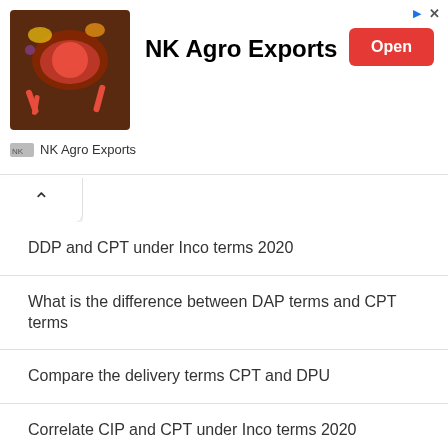[Figure (infographic): NK Agro Exports advertisement banner with food/spices image on left, bold title 'NK Agro Exports', red 'Open' button, and logo row at bottom]
DDP and CPT under Inco terms 2020
What is the difference between DAP terms and CPT terms
Compare the delivery terms CPT and DPU
Correlate CIP and CPT under Inco terms 2020
CIF Vs FCA, a comparison under Inco terms 2020
Distinguish between CFR and FCA under Inco terms 2020
Track Your Air Shipment Here
Track Your Sea Shipment Here